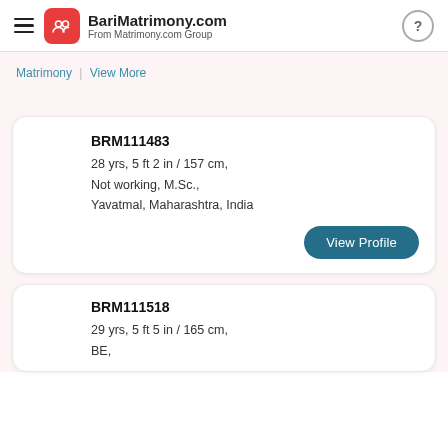BariMatrimony.com From Matrimony.com Group
Matrimony | View More
BRM111483
28 yrs, 5 ft 2 in / 157 cm,
Not working, M.Sc.,
Yavatmal, Maharashtra, India
View Profile
BRM111518
29 yrs, 5 ft 5 in / 165 cm,
BE,